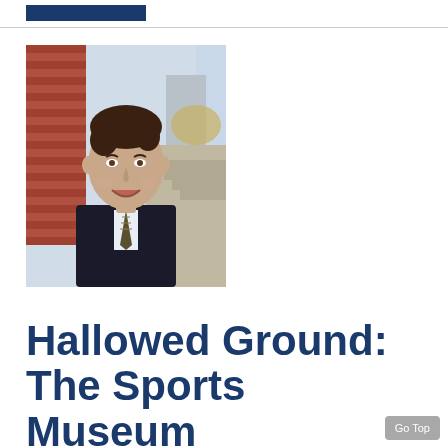[Figure (photo): Headshot of a young man in a dark suit and striped tie, smiling, with a brick building and outdoor steps in the background.]
Hallowed Ground: The Sports Museum